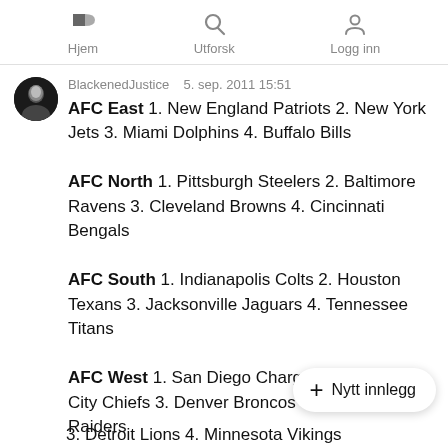Hjem   Utforsk   Logg inn
BlackenedJustice   5. sep. 2011 15:51
AFC East 1. New England Patriots 2. New York Jets 3. Miami Dolphins 4. Buffalo Bills

AFC North 1. Pittsburgh Steelers 2. Baltimore Ravens 3. Cleveland Browns 4. Cincinnati Bengals

AFC South 1. Indianapolis Colts 2. Houston Texans 3. Jacksonville Jaguars 4. Tennessee Titans

AFC West 1. San Diego Chargers 2. Kansas City Chiefs 3. Denver Broncos 4. Oakland Raiders

NFC East 1. Philadelphia Eagles 2. Dallas Cowboys 3. New York Giants 4. Washington Redskins

NFC North 1. Green Bay Packers
3. Detroit Lions 4. Minnesota Vikings